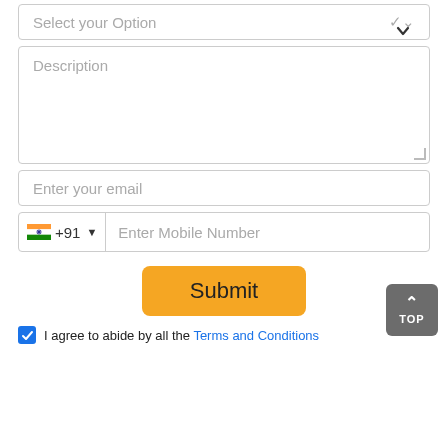[Figure (screenshot): Web form with select dropdown, description textarea, email input, phone number input with India flag and +91 country code, a Submit button, a back-to-top button, and a terms agreement checkbox.]
Select your Option
Description
Enter your email
🇮🇳 +91 ▼   Enter Mobile Number
Submit
TOP
I agree to abide by all the Terms and Conditions